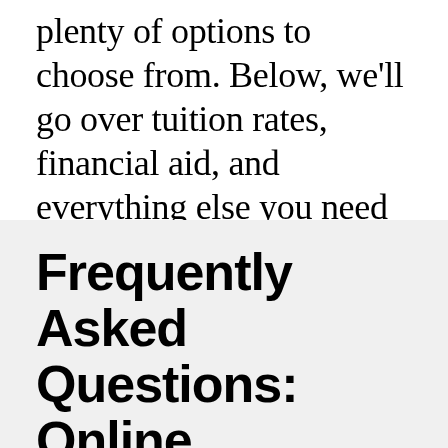plenty of options to choose from. Below, we'll go over tuition rates, financial aid, and everything else you need to know about attending online universities and colleges in New Mexico.
Frequently Asked Questions: Online Colleges in New Mexico